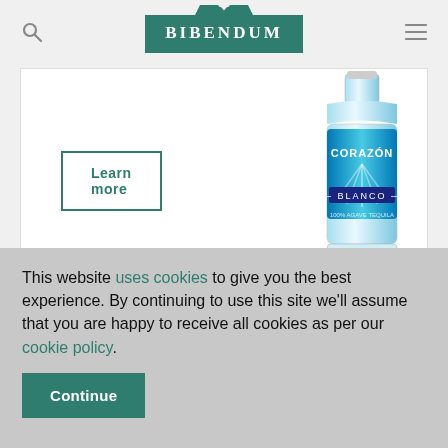BIBENDUM (logo with search and menu icons)
[Figure (photo): Partial product card showing a bottle of Corazon Tequila Blanco with a 'Learn more' button]
Learn more
Corazon Tequila Reposado
Mexico, 70cl
This website uses cookies to give you the best experience. By continuing to use this site we'll assume that you are happy to receive all cookies as per our cookie policy.
Continue